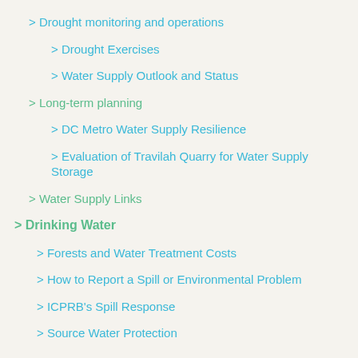> Drought monitoring and operations
> Drought Exercises
> Water Supply Outlook and Status
> Long-term planning
> DC Metro Water Supply Resilience
> Evaluation of Travilah Quarry for Water Supply Storage
> Water Supply Links
> Drinking Water
> Forests and Water Treatment Costs
> How to Report a Spill or Environmental Problem
> ICPRB's Spill Response
> Source Water Protection